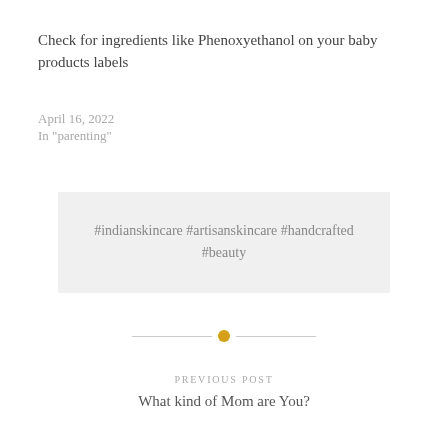Check for ingredients like Phenoxyethanol on your baby products labels
April 16, 2022
In "parenting"
#indianskincare #artisanskincare #handcrafted #beauty
[Figure (other): Horizontal divider with a gold/yellow circle dot in the center and thin lines on each side]
PREVIOUS POST
What kind of Mom are You?